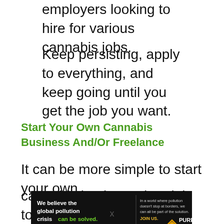employers looking to hire for various cannabis jobs.
Keep persisting, apply to everything, and keep going until you get the job you want.
Start Your Own Cannabis Business And/Or Freelance
It can be more simple to start your own cannabis business than it is to find a
[Figure (other): Advertisement banner for Pure Earth organization with text 'We believe the global pollution crisis can be solved.' and 'In a world where pollution doesn't stop at borders, we can all be part of the solution. JOIN US.' with Pure Earth logo.]
x